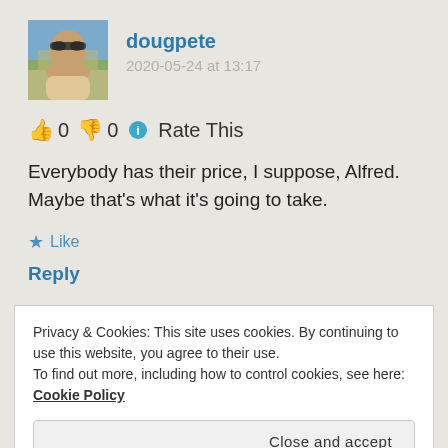[Figure (photo): Avatar photo of user dougpete, a person wearing sunglasses]
dougpete
2020-05-24 at 13:17
👍 0 👎 0 ℹ Rate This
Everybody has their price, I suppose, Alfred. Maybe that's what it's going to take.
★ Like
Reply
Privacy & Cookies: This site uses cookies. By continuing to use this website, you agree to their use.
To find out more, including how to control cookies, see here: Cookie Policy
Close and accept
Pingback: OTR Links 05/25/2020 – doug —